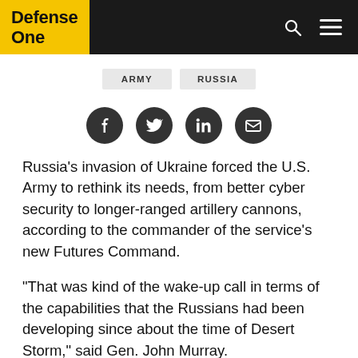Defense One
ARMY   RUSSIA
[Figure (infographic): Social sharing icons: Facebook, Twitter, LinkedIn, Email]
Russia's invasion of Ukraine forced the U.S. Army to rethink its needs, from better cyber security to longer-ranged artillery cannons, according to the commander of the service's new Futures Command.
“That was kind of the wake-up call in terms of the capabilities that the Russians had been developing since about the time of Desert Storm,” said Gen. John Murray.
Most prominently, Murray said, is Russian — and also